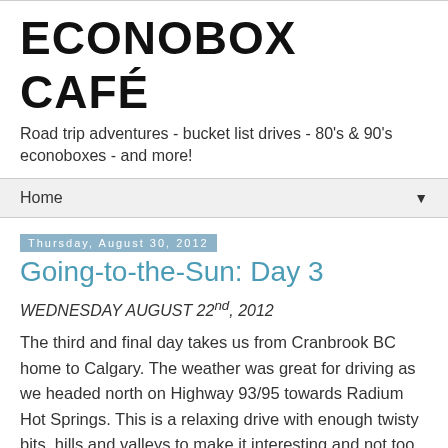ECONOBOX CAFÉ
Road trip adventures - bucket list drives - 80's & 90's econoboxes - and more!
Home ▼
Thursday, August 30, 2012
Going-to-the-Sun: Day 3
WEDNESDAY AUGUST 22nd, 2012
The third and final day takes us from Cranbrook BC home to Calgary. The weather was great for driving as we headed north on Highway 93/95 towards Radium Hot Springs. This is a relaxing drive with enough twisty bits, hills and valleys to make it interesting and not too much traffic.